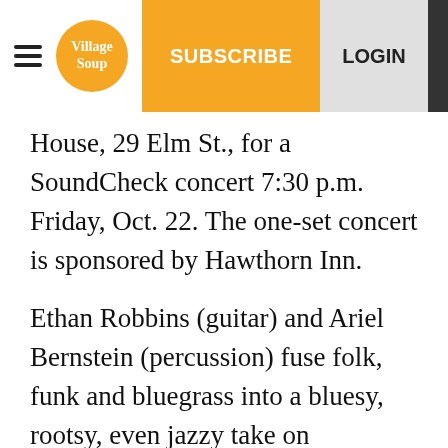Village Soup | SUBSCRIBE | LOGIN
House, 29 Elm St., for a SoundCheck concert 7:30 p.m. Friday, Oct. 22. The one-set concert is sponsored by Hawthorn Inn.
Ethan Robbins (guitar) and Ariel Bernstein (percussion) fuse folk, funk and bluegrass into a bluesy, rootsy, even jazzy take on Americana, driven by compelling songwriting. Punctuated by tight harmonies and skillful playing, Cold Chocolate has gained recognition for its original music and high-energy shows.
Both Robbins and Bernstein have classical